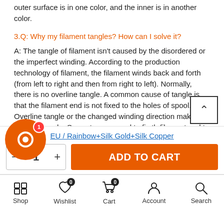outer surface is in one color, and the inner is in another color.
3.Q: Why my filament tangles? How can I solve it?
A: The tangle of filament isn't caused by the disordered or the imperfect winding. According to the production technology of filament, the filament winds back and forth (from left to right and then from right to left). Normally, there is no overline tangle. A common cause of tangle is that the filament end is not fixed to the holes of spool. Overline tangle or the changed winding direction make filament tangle. So customers need to fix the filament end to the proper holes of the spool.
EU / Rainbow+Silk Gold+Silk Copper
ADD TO CART
Shop  Wishlist  Cart  Account  Search